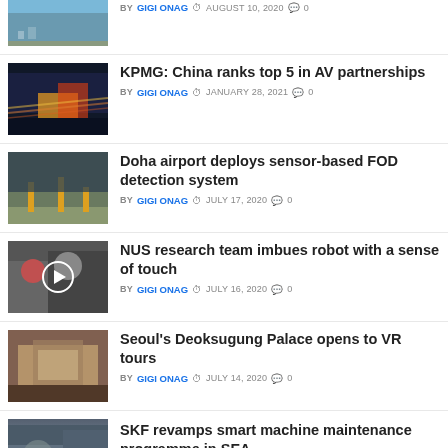[Figure (photo): Harbor/port city aerial photo (partially visible at top)]
BY GIGI ONAG  AUGUST 10, 2020  0
KPMG: China ranks top 5 in AV partnerships
BY GIGI ONAG  JANUARY 28, 2021  0
[Figure (photo): City highway with light trails at night]
Doha airport deploys sensor-based FOD detection system
BY GIGI ONAG  JULY 17, 2020  0
[Figure (photo): Airport tarmac with yellow poles]
NUS research team imbues robot with a sense of touch
BY GIGI ONAG  JULY 16, 2020  0
[Figure (photo): Group of researchers with play button overlay (video)]
Seoul's Deoksugung Palace opens to VR tours
BY GIGI ONAG  JULY 14, 2020  0
[Figure (photo): People viewing palace exhibition with tablet]
SKF revamps smart machine maintenance programme in SEA
BY GIGI ONAG  JULY -, 2020
[Figure (photo): Worker with industrial equipment]